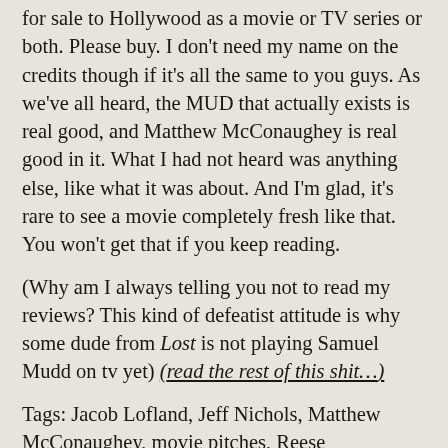for sale to Hollywood as a movie or TV series or both. Please buy. I don't need my name on the credits though if it's all the same to you guys. As we've all heard, the MUD that actually exists is real good, and Matthew McConaughey is real good in it. What I had not heard was anything else, like what it was about. And I'm glad, it's rare to see a movie completely fresh like that. You won't get that if you keep reading.
(Why am I always telling you not to read my reviews? This kind of defeatist attitude is why some dude from Lost is not playing Samuel Mudd on tv yet) (read the rest of this shit…)
Tags: Jacob Lofland, Jeff Nichols, Matthew McConaughey, movie pitches, Reese Witherspoon,